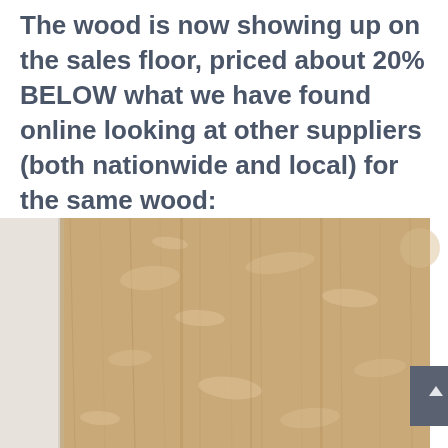The wood is now showing up on the sales floor, priced about 20% BELOW what we have found online looking at other suppliers (both nationwide and local) for the same wood: width/length/thickness, quality, etc.
[Figure (photo): Close-up photograph of wood grain surface showing light brown oak or similar hardwood with visible ray fleck pattern, displayed on a sales floor.]